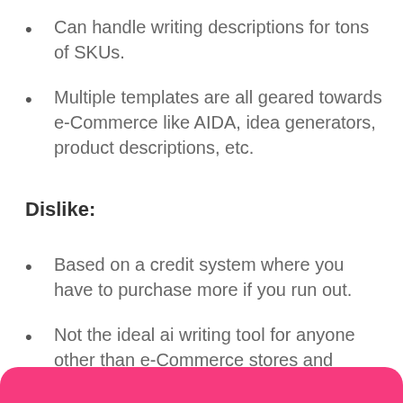Can handle writing descriptions for tons of SKUs.
Multiple templates are all geared towards e-Commerce like AIDA, idea generators, product descriptions, etc.
Dislike:
Based on a credit system where you have to purchase more if you run out.
Not the ideal ai writing tool for anyone other than e-Commerce stores and agencies.